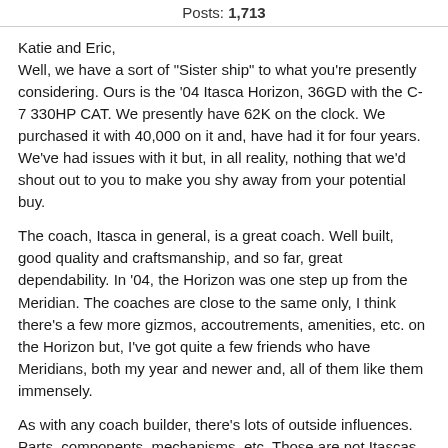Posts: 1,713
Katie and Eric,
Well, we have a sort of "Sister ship" to what you're presently considering. Ours is the '04 Itasca Horizon, 36GD with the C-7 330HP CAT. We presently have 62K on the clock. We purchased it with 40,000 on it and, have had it for four years. We've had issues with it but, in all reality, nothing that we'd shout out to you to make you shy away from your potential buy.
The coach, Itasca in general, is a great coach. Well built, good quality and craftsmanship, and so far, great dependability. In '04, the Horizon was one step up from the Meridian. The coaches are close to the same only, I think there's a few more gizmos, accoutrements, amenities, etc. on the Horizon but, I've got quite a few friends who have Meridians, both my year and newer and, all of them like them immensely.
As with any coach builder, there's lots of outside influences. Parts, components, mechanisms, etc. Those are not Itascas, they are things like water pumps, fridges, TVs, radios, A/C units, heaters (propane) and a whole lot more. Many of those components go bad or hiccup over time. They all can do that, no matter what maker of coach they're